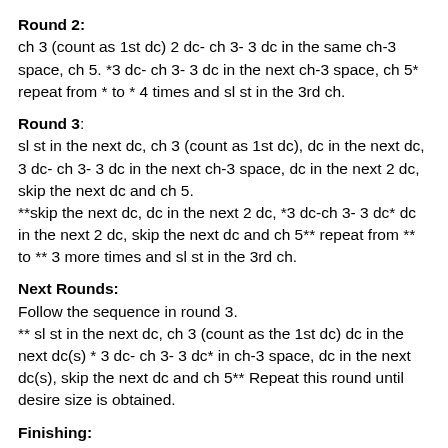Round 2:
ch 3 (count as 1st dc) 2 dc- ch 3- 3 dc in the same ch-3 space, ch 5. *3 dc- ch 3- 3 dc in the next ch-3 space, ch 5* repeat from * to * 4 times and sl st in the 3rd ch.
Round 3:
sl st in the next dc, ch 3 (count as 1st dc), dc in the next dc, 3 dc- ch 3- 3 dc in the next ch-3 space, dc in the next 2 dc, skip the next dc and ch 5.
**skip the next dc, dc in the next 2 dc, *3 dc-ch 3- 3 dc* dc in the next 2 dc, skip the next dc and ch 5** repeat from ** to ** 3 more times and sl st in the 3rd ch.
Next Rounds:
Follow the sequence in round 3.
** sl st in the next dc, ch 3 (count as the 1st dc) dc in the next dc(s) * 3 dc- ch 3- 3 dc* in ch-3 space, dc in the next dc(s), skip the next dc and ch 5** Repeat this round until desire size is obtained.
Finishing:
Starts to braid ( Jacob's ladder technique) from the outer/last